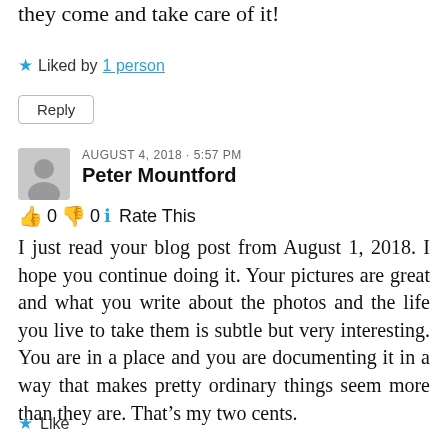they come and take care of it!
★ Liked by 1 person
Reply
AUGUST 4, 2018 · 5:57 PM
Peter Mountford
👍 0 👎 0 ℹ️ Rate This
I just read your blog post from August 1, 2018. I hope you continue doing it. Your pictures are great and what you write about the photos and the life you live to take them is subtle but very interesting. You are in a place and you are documenting it in a way that makes pretty ordinary things seem more than they are. That's my two cents.
★ Like